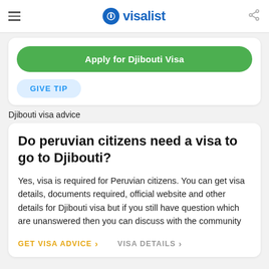visalist
Apply for Djibouti Visa
GIVE TIP
Djibouti visa advice
Do peruvian citizens need a visa to go to Djibouti?
Yes, visa is required for Peruvian citizens. You can get visa details, documents required, official website and other details for Djibouti visa but if you still have question which are unanswered then you can discuss with the community
GET VISA ADVICE > VISA DETAILS >